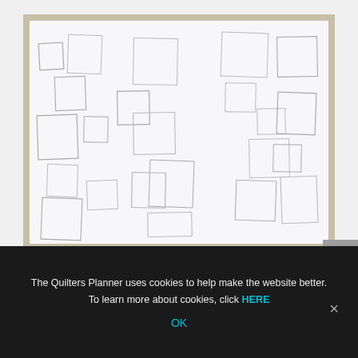[Figure (illustration): A photograph of a white paper/sketchbook page on a tan/beige background, showing many hand-drawn pencil rectangles and squares of varying sizes scattered across the paper in a random arrangement.]
Start at the Bottom of the Page
Challenge yourself to start at the bottom of the
The Quilters Planner uses cookies to help make the website better. To learn more about cookies, click HERE
OK